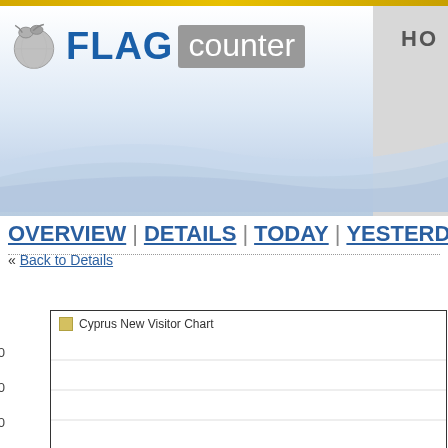[Figure (logo): Flag Counter logo with globe icon, FLAG in bold blue, counter in white on grey background]
HO
OVERVIEW | DETAILS | TODAY | YESTERDAY |
« Back to Details
[Figure (line-chart): Line chart showing Cyprus new visitor data with y-axis values 80, 100, 120 visible]